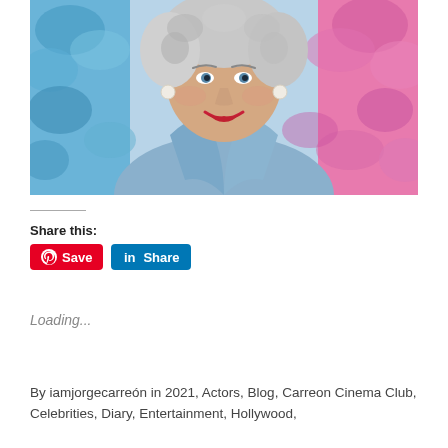[Figure (photo): Elderly smiling woman with curly white hair, wearing a light blue blazer and pearl necklace and earrings, lying against colorful blue and pink fuzzy backgrounds.]
Share this:
Save   Share
Loading...
By iamjorgecarreón in 2021, Actors, Blog, Carreon Cinema Club, Celebrities, Diary, Entertainment, Hollywood,